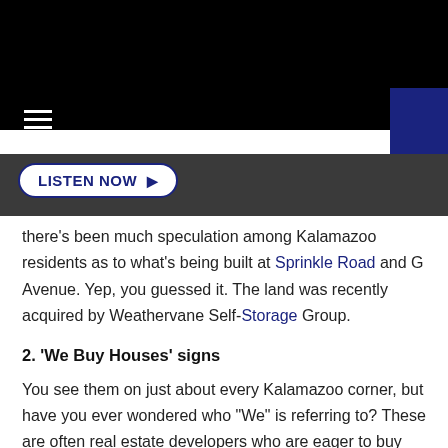LISTEN NOW
there's been much speculation among Kalamazoo residents as to what's being built at Sprinkle Road and G Avenue. Yep, you guessed it. The land was recently acquired by Weathervane Self-Storage Group.
2. ‘We Buy Houses’ signs
You see them on just about every Kalamazoo corner, but have you ever wondered who “We” is referring to? These are often real estate developers who are eager to buy any home, no matter the condition, in order to flip it and make a profit. These mysterious signs seem to pop up overnight and